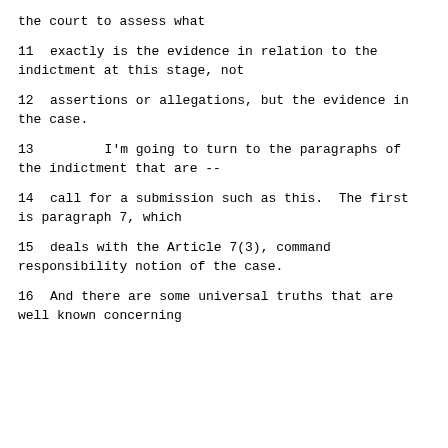the court to assess what
11     exactly is the evidence in relation to the indictment at this stage, not
12     assertions or allegations, but the evidence in the case.
13             I'm going to turn to the paragraphs of the indictment that are --
14     call for a submission such as this.  The first is paragraph 7, which
15     deals with the Article 7(3), command responsibility notion of the case.
16     And there are some universal truths that are well known concerning